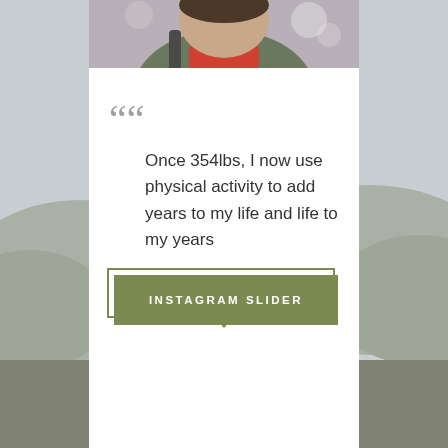[Figure (photo): Top portion of a person wearing a green jacket and orange/red shirt with a backpack, partially cropped]
Once 354lbs, I now use physical activity to add years to my life and life to my years
[Figure (infographic): Olive green button/banner labeled INSTAGRAM SLIDER with a border offset and a small downward pointing triangle arrow below]